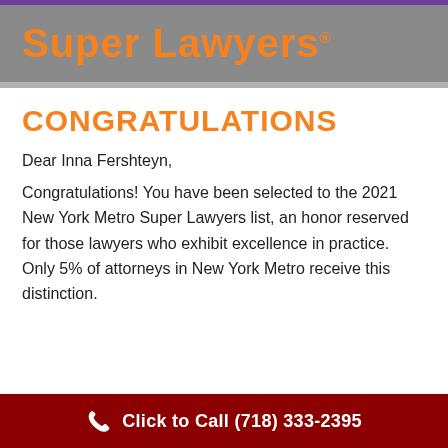[Figure (logo): Super Lawyers logo with orange bold text on gray banner background]
CONGRATULATIONS
Dear Inna Fershteyn,
Congratulations! You have been selected to the 2021 New York Metro Super Lawyers list, an honor reserved for those lawyers who exhibit excellence in practice. Only 5% of attorneys in New York Metro receive this distinction.
Click to Call (718) 333-2395